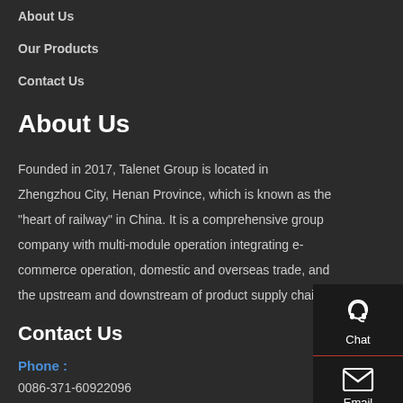About Us
Our Products
Contact Us
About Us
Founded in 2017, Talenet Group is located in Zhengzhou City, Henan Province, which is known as the "heart of railway" in China. It is a comprehensive group company with multi-module operation integrating e-commerce operation, domestic and overseas trade, and the upstream and downstream of product supply chain.
Contact Us
Phone :
0086-371-60922096
Email :